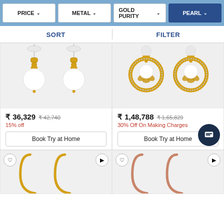PRICE | METAL | GOLD PURITY | PEARL
SORT | FILTER
[Figure (photo): Pearl drop earrings in gold with diamond chain accents]
₹ 36,329  ₹ 42,740
15% off
Book Try at Home
[Figure (photo): Gold filigree chandelier earrings with pearl centers and diamond border]
₹ 1,48,788  ₹ 1,65,829
30% Off On Making Charges
Book Try at Home
[Figure (photo): Simple gold hoop earrings (bottom left)]
[Figure (photo): Simple rose gold hoop earrings (bottom right)]